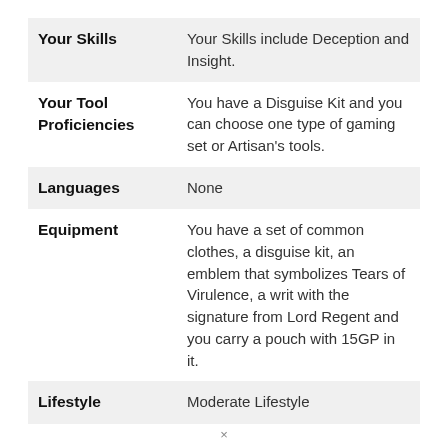| Your Skills | Your Skills include Deception and Insight. |
| Your Tool Proficiencies | You have a Disguise Kit and you can choose one type of gaming set or Artisan's tools. |
| Languages | None |
| Equipment | You have a set of common clothes, a disguise kit, an emblem that symbolizes Tears of Virulence, a writ with the signature from Lord Regent and you carry a pouch with 15GP in it. |
| Lifestyle | Moderate Lifestyle |
×